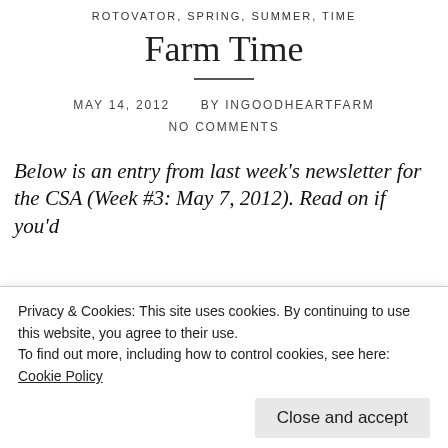ROTOVATOR, SPRING, SUMMER, TIME
Farm Time
MAY 14, 2012   BY INGOODHEARTFARM
NO COMMENTS
Below is an entry from last week's newsletter for the CSA (Week #3: May 7, 2012). Read on if you'd
Privacy & Cookies: This site uses cookies. By continuing to use this website, you agree to their use.
To find out more, including how to control cookies, see here: Cookie Policy
Close and accept